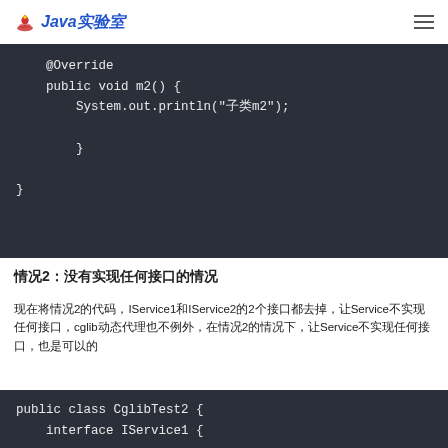Java实验室
[Figure (screenshot): Dark code block showing Java @Override method m2() with System.out.println and closing braces]
情况2：没有实现任何接口的情况
现在将情况2的代码，IService1和IService2的2个接口都去掉，让Service不实现任何接口，cglib动态代理也不例外，在情况2的情况下，让Service不实现任何接口，也是可以的
[Figure (screenshot): Dark code block showing public class CglibTest2 with interface IService1 declaration]